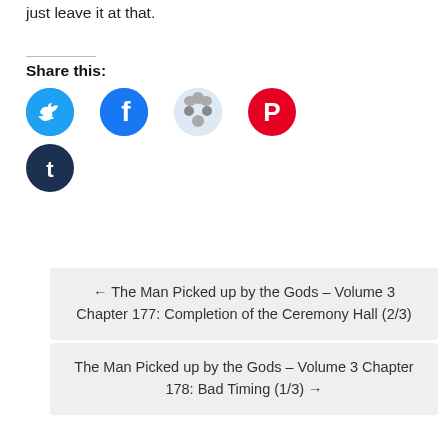just leave it at that.
Share this:
[Figure (infographic): Social share buttons: Twitter (blue), Facebook (blue), Reddit (light blue/grey), Pinterest (red), Tumblr (dark navy)]
← The Man Picked up by the Gods – Volume 3 Chapter 177: Completion of the Ceremony Hall (2/3)
The Man Picked up by the Gods – Volume 3 Chapter 178: Bad Timing (1/3) →